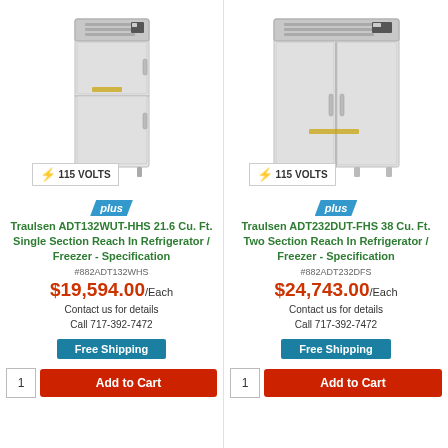[Figure (photo): Traulsen single section reach-in refrigerator/freezer, stainless steel, single door unit with 115 VOLTS badge]
plus
Traulsen ADT132WUT-HHS 21.6 Cu. Ft. Single Section Reach In Refrigerator / Freezer - Specification
#882ADT132WHS
$19,594.00/Each
Contact us for details
Call 717-392-7472
Free Shipping
1
Add to Cart
[Figure (photo): Traulsen two section reach-in refrigerator/freezer, stainless steel, two door unit with 115 VOLTS badge]
plus
Traulsen ADT232DUT-FHS 38 Cu. Ft. Two Section Reach In Refrigerator / Freezer - Specification
#882ADT232DFS
$24,743.00/Each
Contact us for details
Call 717-392-7472
Free Shipping
1
Add to Cart